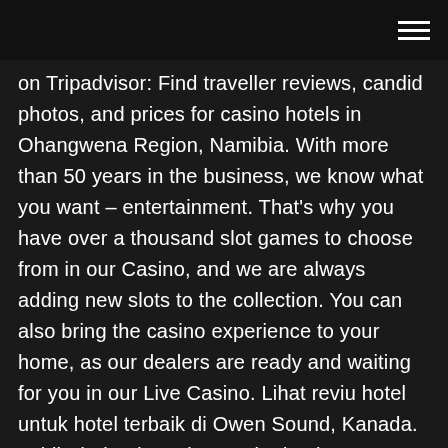on Tripadvisor: Find traveller reviews, candid photos, and prices for casino hotels in Ohangwena Region, Namibia. With more than 50 years in the business, we know what you want – entertainment. That's why you have over a thousand slot games to choose from in our Casino, and we are always adding new slots to the collection. You can also bring the casino experience to your home, as our dealers are ready and waiting for you in our Live Casino. Lihat reviu hotel untuk hotel terbaik di Owen Sound, Kanada. Lebih daripada 51 juta reviu dan harga termurah di Booking.com. Rome2rio makes travelling from Owen Sound to Casino Rama easy. Rome2rio is a door-to-door travel information and booking engine, helping you get to and from any location in the world. Find all the transport options for your trip from Owen